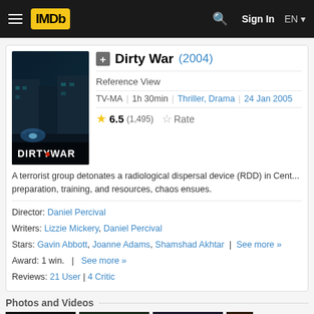IMDb | Sign In | EN
[Figure (photo): Dirty War movie poster — dark blue-tinted street scene with text DIRTY WAR]
Dirty War (2004)
Reference View
TV-MA | 1h 30min | Thriller, Drama | 24 Jan 2005
★ 6.5 (1,495)  ☆ Rate
A terrorist group detonates a radiological dispersal device (RDD) in Cent... preparation, training, and resources, chaos ensues.
Director: Daniel Percival
Writers: Lizzie Mickery, Daniel Percival
Stars: Gavin Abbott, Joanne Adams, Shamshad Akhtar | See more »
Award: 1 win. | See more »
Reviews: 21 User | 4 Critic
Photos and Videos
[Figure (photo): Thumbnail images from the film]